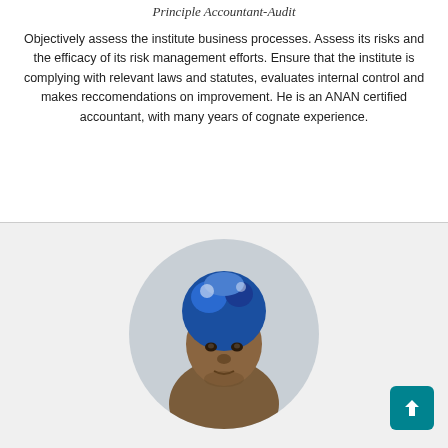Principle Accountant-Audit
Objectively assess the institute business processes. Assess its risks and the efficacy of its risk management efforts. Ensure that the institute is complying with relevant laws and statutes, evaluates internal control and makes reccomendations on improvement. He is an ANAN certified accountant, with many years of cognate experience.
[Figure (photo): Portrait photo of a woman wearing a blue patterned head covering, displayed in a circular crop against a light grey background.]